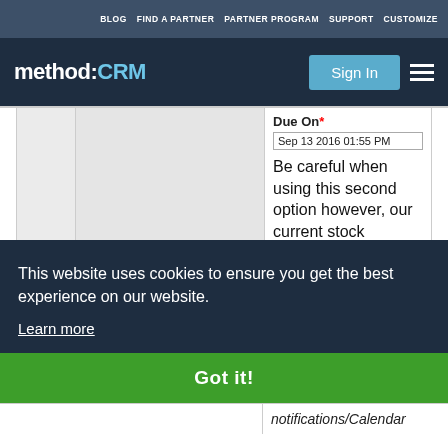BLOG  FIND A PARTNER  PARTNER PROGRAM  SUPPORT  CUSTOMIZE
[Figure (logo): Method:CRM logo with Sign In button and hamburger menu]
Due On*
Sep 13 2016 01:55 PM
Be careful when using this second option however, our current stock Calendar and Reminder services
This website uses cookies to ensure you get the best experience on our website.
Learn more
Got it!
notifications/Calendar